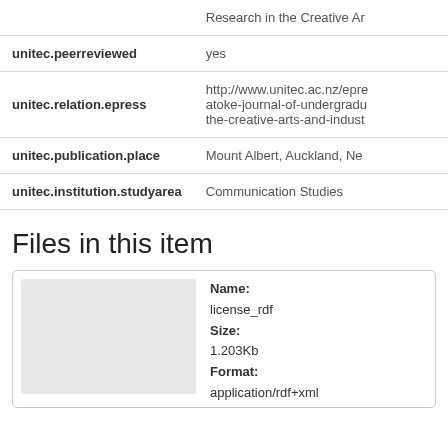| Field | Value |
| --- | --- |
|  | Research in the Creative Ar |
| unitec.peerreviewed | yes |
| unitec.relation.epress | http://www.unitec.ac.nz/epre atoke-journal-of-undergradu the-creative-arts-and-indust |
| unitec.publication.place | Mount Albert, Auckland, Ne |
| unitec.institution.studyarea | Communication Studies |
Files in this item
[Figure (other): Thumbnail preview of license_rdf file]
Name: license_rdf Size: 1.203Kb Format: application/rdf+xml